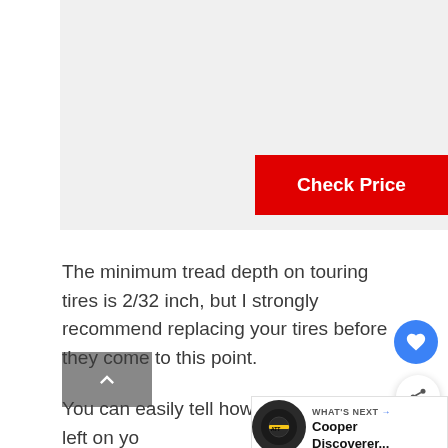[Figure (photo): Product image area placeholder (light gray box) with a red Check Price button overlaid at center-right]
The minimum tread depth on touring tires is 2/32 inch, but I strongly recommend replacing your tires before they come to this point.
You can easily tell how much tread is left on your EnduraMax tires by looking at the TWI... are narrow bars of smooth rubber that ... across the tread.